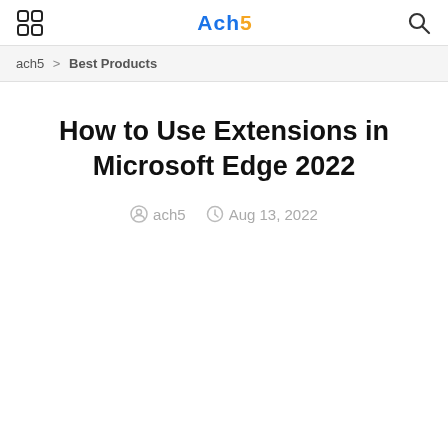ach5 logo and navigation
ach5 > Best Products
How to Use Extensions in Microsoft Edge 2022
ach5   Aug 13, 2022